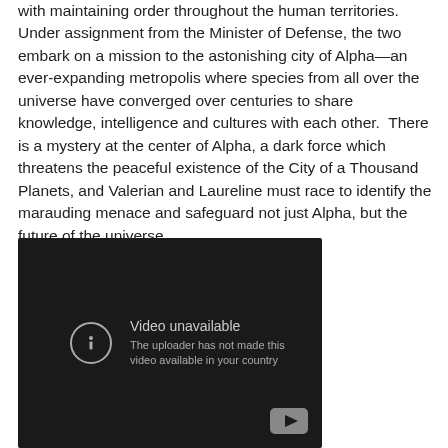(…continuing) with maintaining order throughout the human territories. Under assignment from the Minister of Defense, the two embark on a mission to the astonishing city of Alpha—an ever-expanding metropolis where species from all over the universe have converged over centuries to share knowledge, intelligence and cultures with each other.  There is a mystery at the center of Alpha, a dark force which threatens the peaceful existence of the City of a Thousand Planets, and Valerian and Laureline must race to identify the marauding menace and safeguard not just Alpha, but the future of the universe.
[Figure (screenshot): Embedded video player showing 'Video unavailable – The uploader has not made this video available in your country' message on a dark background with a YouTube logo in the bottom-right corner.]